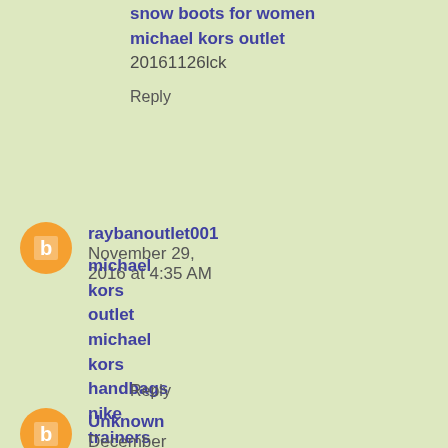snow boots for women
michael kors outlet
20161126lck
Reply
raybanoutlet001   November 29, 2016 at 4:35 AM
michael kors outlet
michael kors handbags
nike trainers
ferragamo shoes
golden state warriors jerseys
houston texans jerseys
michael kors handbags
cheap jordans
saics running shoes
arizona cardinals jerseys
Reply
Unknown   December 27, 2016 at 12:02 AM